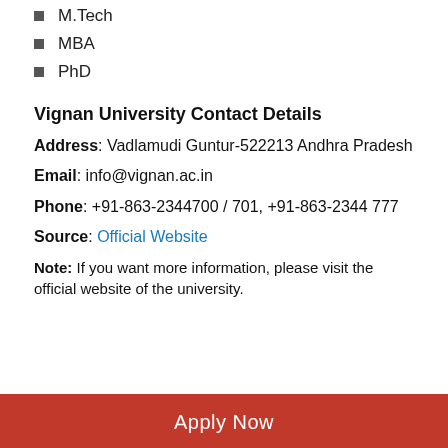M.Tech
MBA
PhD
Vignan University Contact Details
Address: Vadlamudi Guntur-522213 Andhra Pradesh
Email: info@vignan.ac.in
Phone: +91-863-2344700 / 701, +91-863-2344 777
Source: Official Website
Note: If you want more information, please visit the official website of the university.
Apply Now